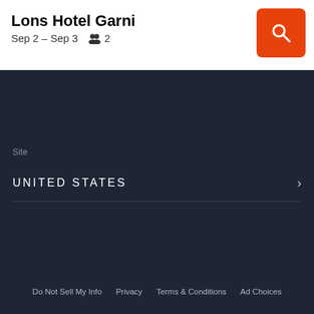Lons Hotel Garni
Sep 2 – Sep 3   👥 2
[Figure (other): Orange search button with magnifying glass icon]
Site
UNITED STATES
Do Not Sell My Info   Privacy   Terms & Conditions   Ad Choices
©2022 KAYAK
Search for Lons Hotel Garni discounts in Garbsen with KAYAK. Search for the cheapest hotel deal for Lons Hotel Garni in Garbsen. KAYAK searches hundreds of travel sites to help you find and book the hotel deal at Lons Hotel Garni that suits you best. $85 per night (Latest starting price for this hotel).